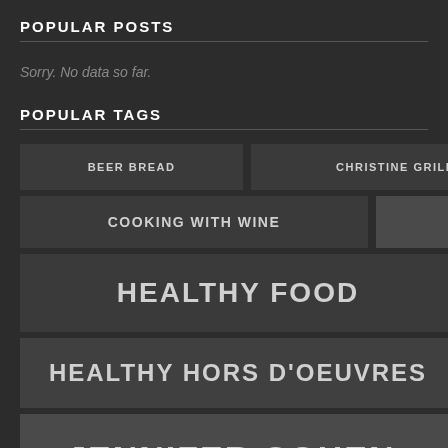POPULAR POSTS
Sorry. No data so far.
POPULAR TAGS
BEER BREAD
CHRISTINE GRILLO
COOKING WITH WINE
EDIBLE ART
HEALTHY FOOD
HEALTHY HORS D'OEUVRES
JENNIFER COHEN-MATT...